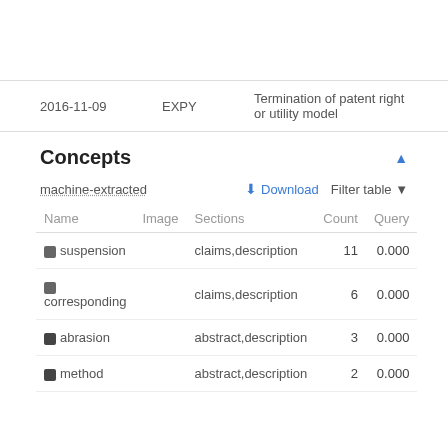| Date | Code | Description |
| --- | --- | --- |
| 2016-11-09 | EXPY | Termination of patent right or utility model |
Concepts
machine-extracted
| Name | Image | Sections | Count | Query |
| --- | --- | --- | --- | --- |
| suspension |  | claims,description | 11 | 0.000 |
| corresponding |  | claims,description | 6 | 0.000 |
| abrasion |  | abstract,description | 3 | 0.000 |
| method |  | abstract,description | 2 | 0.000 |